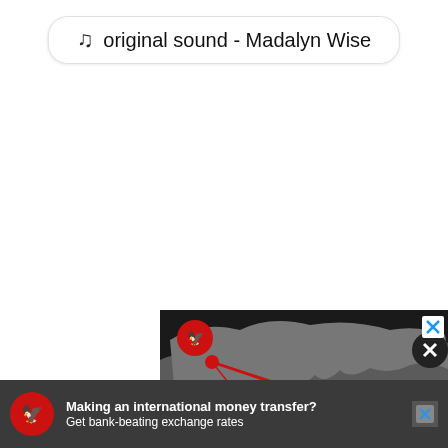♩ original sound - Madalyn Wise
[Figure (screenshot): Advertisement banner showing The Independent newspaper logo (red circle with white eagle) on dark background with grey world map. Text reads: Essential news from around the world]
[Figure (screenshot): Bottom advertisement banner with The Independent logo on dark grey background. Text: Making an international money transfer? Get bank-beating exchange rates]